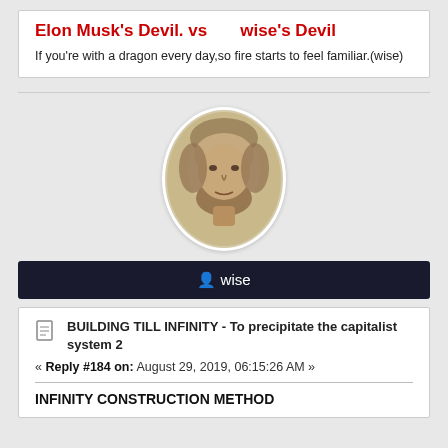Elon Musk's Devil. vs wise's Devil
If you're with a dragon every day,so fire starts to feel familiar.(wise)
[Figure (photo): Oval portrait illustration of a bearded man with classical painting style]
wise
BUILDING TILL INFINITY - To precipitate the capitalist system 2
« Reply #184 on: August 29, 2019, 06:15:26 AM »
INFINITY CONSTRUCTION METHOD